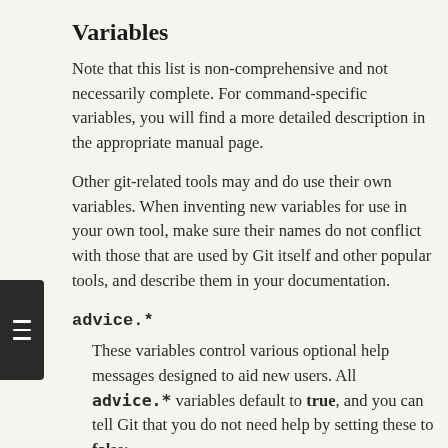Variables
Note that this list is non-comprehensive and not necessarily complete. For command-specific variables, you will find a more detailed description in the appropriate manual page.
Other git-related tools may and do use their own variables. When inventing new variables for use in your own tool, make sure their names do not conflict with those that are used by Git itself and other popular tools, and describe them in your documentation.
advice.*
These variables control various optional help messages designed to aid new users. All advice.* variables default to true, and you can tell Git that you do not need help by setting these to false:
pushUpdateRejected
Set this variable to false if you want to disable